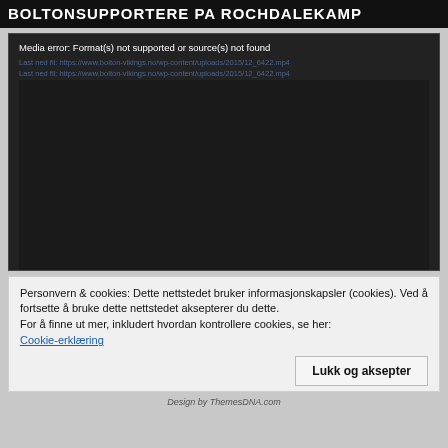BOLTONSUPPORTERE PA ROCHDALEKAMP
[Figure (screenshot): Media player showing error: Format(s) not supported or source(s) not found. Two greyed-out source URL lines are visible. The rest of the player is a black/dark area.]
Personvern & cookies: Dette nettstedet bruker informasjonskapsler (cookies). Ved å fortsette å bruke dette nettstedet aksepterer du dette.
For å finne ut mer, inkludert hvordan kontrollere cookies, se her:
Cookie-erklæring
Lukk og aksepter
Design by ThemesDNA.com